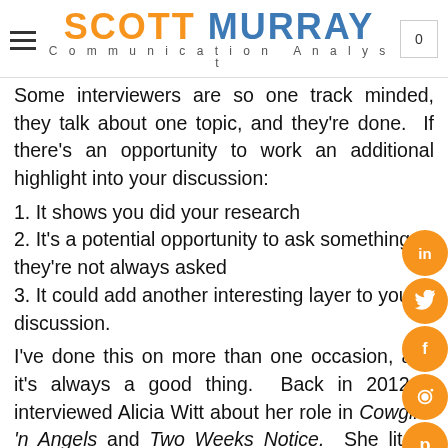SCOTT MURRAY — Communication Analyst
Some interviewers are so one track minded, they talk about one topic, and they're done. If there's an opportunity to work an additional highlight into your discussion:
1. It shows you did your research
2. It's a potential opportunity to ask something they're not always asked
3. It could add another interesting layer to your discussion.
I've done this on more than one occasion, and it's always a good thing. Back in 2012, I interviewed Alicia Witt about her role in Cowgirls 'n Angels and Two Weeks Notice. She lit up with a smile when I brought up her singing career, which is a bigger part of her life now.